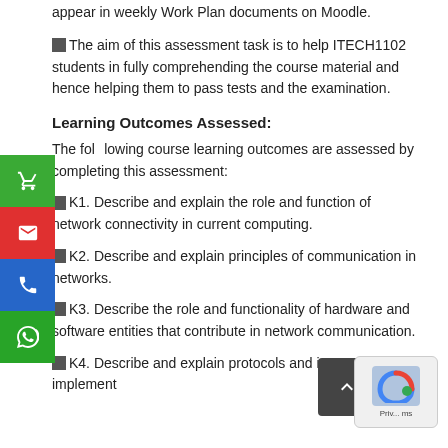appear in weekly Work Plan documents on Moodle.
☒The aim of this assessment task is to help ITECH1102 students in fully comprehending the course material and hence helping them to pass tests and the examination.
Learning Outcomes Assessed:
The following course learning outcomes are assessed by completing this assessment:
☒K1. Describe and explain the role and function of network connectivity in current computing.
☒K2. Describe and explain principles of communication in networks.
☒K3. Describe the role and functionality of hardware and software entities that contribute in network communication.
☒K4. Describe and explain protocols and interactions that implement